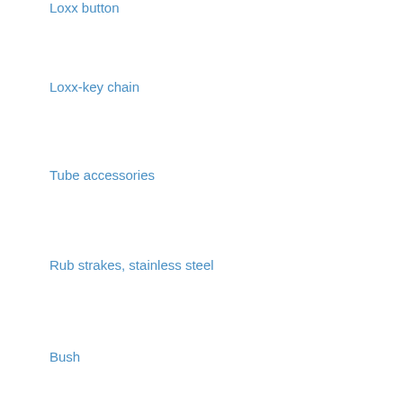Loxx button
Loxx-key chain
Tube accessories
Rub strakes, stainless steel
Bush
Vinyl rubbing strakes
Vetus Poly3026
Vetus Poly3528
Vetus Poly4031
Vetus Haro5034
Vetus Haro6035